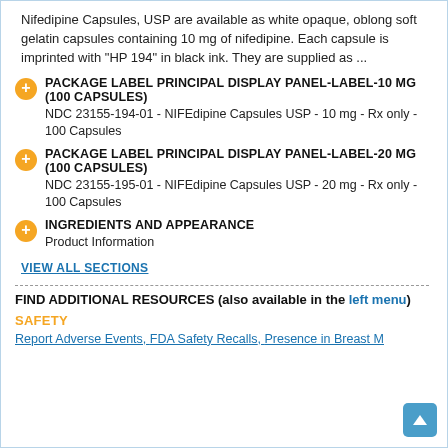Nifedipine Capsules, USP are available as white opaque, oblong soft gelatin capsules containing 10 mg of nifedipine. Each capsule is imprinted with "HP 194" in black ink. They are supplied as ...
PACKAGE LABEL PRINCIPAL DISPLAY PANEL-LABEL-10 MG (100 CAPSULES)
NDC 23155-194-01 - NIFEdipine Capsules USP - 10 mg - Rx only - 100 Capsules
PACKAGE LABEL PRINCIPAL DISPLAY PANEL-LABEL-20 MG (100 CAPSULES)
NDC 23155-195-01 - NIFEdipine Capsules USP - 20 mg - Rx only - 100 Capsules
INGREDIENTS AND APPEARANCE
Product Information
VIEW ALL SECTIONS
FIND ADDITIONAL RESOURCES (also available in the left menu)
SAFETY
Report Adverse Events, FDA Safety Recalls, Presence in Breast M...